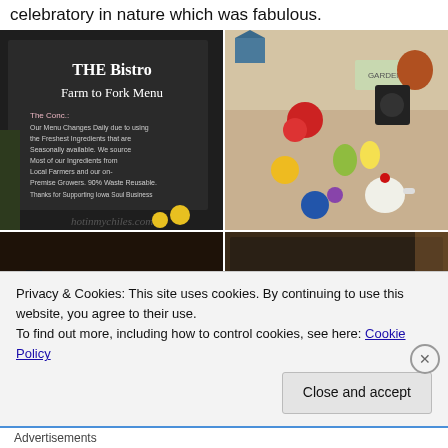celebratory in nature which was fabulous.
[Figure (photo): Four-photo grid: top-left shows a blackboard with 'THE Bistro Farm to Fork Menu' with text about seasonal ingredients and local farmers, with watermark 'hotinmychiles.com'; top-right shows a decorative display with flowers, eggs, and a teapot; bottom-left shows a dimly lit restaurant interior with decorations; bottom-right shows a close-up of a blackboard reading 'THE Bistro Farm to Fo...' (partially visible).]
Privacy & Cookies: This site uses cookies. By continuing to use this website, you agree to their use.
To find out more, including how to control cookies, see here: Cookie Policy
Close and accept
Advertisements